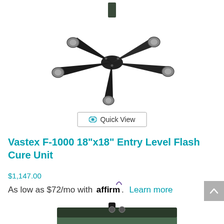[Figure (photo): Black star-shaped rolling stand base with 5 caster wheels, viewed from above]
Quick View
Vastex F-1000 18"x18" Entry Level Flash Cure Unit
$1,147.00
As low as $72/mo with affirm. Learn more
[Figure (photo): Green and black rectangular flash cure unit on a black pole stand, viewed from the front/side]